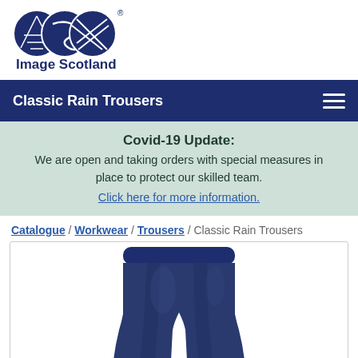[Figure (logo): Image Scotland logo with three overlapping circle icons and bold text 'Image Scotland' below]
Classic Rain Trousers
Covid-19 Update: We are open and taking orders with special measures in place to protect our skilled team. Click here for more information.
Catalogue / Workwear / Trousers / Classic Rain Trousers
[Figure (photo): Dark navy blue Classic Rain Trousers product photo showing waistband and legs of waterproof trousers]